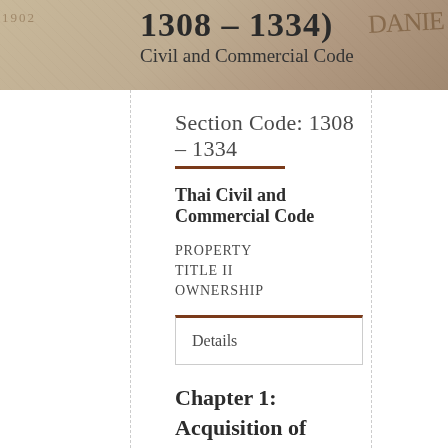[Figure (illustration): Header background image with stone/carved texture, showing partial number '1308-1334' in large bold text and 'Civil and Commercial Code' subtitle, with decorative carved lettering on the right side.]
Section Code: 1308 – 1334
Thai Civil and Commercial Code
PROPERTY
TITLE II
OWNERSHIP
Details
Chapter 1: Acquisition of Ownership